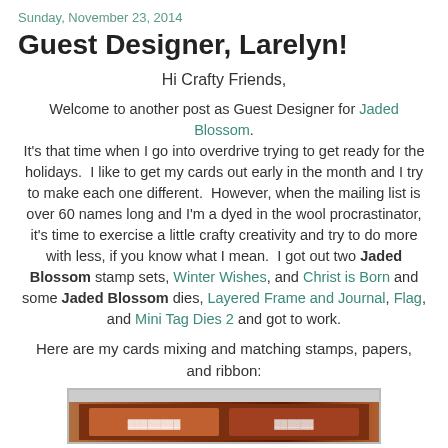Sunday, November 23, 2014
Guest Designer, Larelyn!
Hi Crafty Friends,
Welcome to another post as Guest Designer for Jaded Blossom. It's that time when I go into overdrive trying to get ready for the holidays.  I like to get my cards out early in the month and I try to make each one different.  However, when the mailing list is over 60 names long and I'm a dyed in the wool procrastinator, it's time to exercise a little crafty creativity and try to do more with less, if you know what I mean.  I got out two Jaded Blossom stamp sets, Winter Wishes, and Christ is Born and some Jaded Blossom dies, Layered Frame and Journal, Flag, and Mini Tag Dies 2 and got to work.
Here are my cards mixing and matching stamps, papers, and ribbon:
[Figure (photo): Partial view of crafting cards image at the bottom of the page]